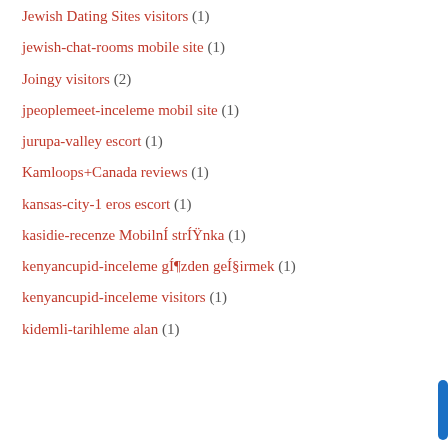Jewish Dating Sites visitors (1)
jewish-chat-rooms mobile site (1)
Joingy visitors (2)
jpeoplemeet-inceleme mobil site (1)
jurupa-valley escort (1)
Kamloops+Canada reviews (1)
kansas-city-1 eros escort (1)
kasidie-recenze MobilnÍ strÍŸnka (1)
kenyancupid-inceleme gÍ¶zden geÍ§irmek (1)
kenyancupid-inceleme visitors (1)
kidemli-tarihleme alan (1)